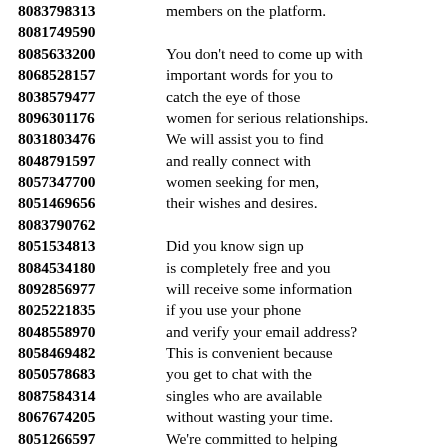8083798313 members on the platform.
8081749590
8085633200 You don't need to come up with
8068528157 important words for you to
8038579477 catch the eye of those
8096301176 women for serious relationships.
8031803476 We will assist you to find
8048791597 and really connect with
8057347700 women seeking for men,
8051469656 their wishes and desires.
8083790762
8051534813 Did you know sign up
8084534180 is completely free and you
8092856977 will receive some information
8025221835 if you use your phone
8048558970 and verify your email address?
8058469482 This is convenient because
8050578683 you get to chat with the
8087584314 singles who are available
8067674205 without wasting your time.
8051266597 We're committed to helping
8012305848 you find the perfect match
8098739393 no matter where they are.
8048275107 At our site where you can
8054338766 find the hottest and most
8026872157 beautiful women in all